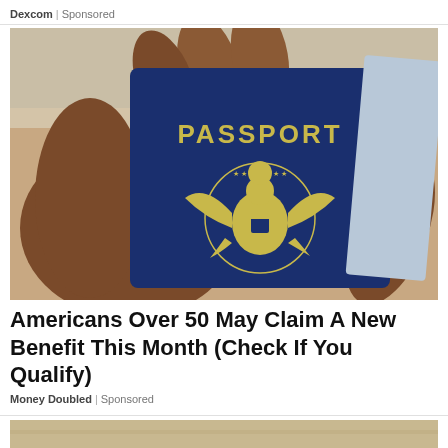Dexcom | Sponsored
[Figure (photo): A hand holding a blue US Passport with gold embossed eagle seal. The word PASSPORT is printed in gold letters on the cover. Another document is partially visible behind the passport.]
Americans Over 50 May Claim A New Benefit This Month (Check If You Qualify)
Money Doubled | Sponsored
[Figure (photo): Partial view of another image at the bottom of the page, showing a sandy/beige background.]